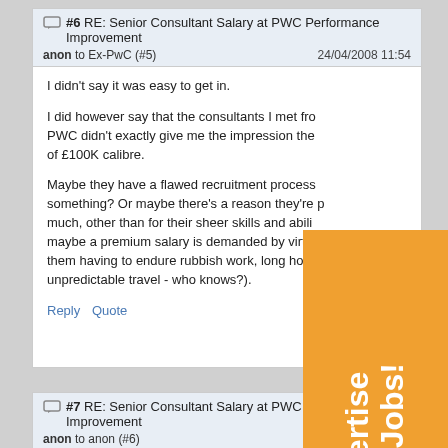#6 RE: Senior Consultant Salary at PWC Performance Improvement 24/04/2008 11:54 anon to Ex-PwC (#5)
I didn't say it was easy to get in.

I did however say that the consultants I met from PWC didn't exactly give me the impression they were of £100K calibre.

Maybe they have a flawed recruitment process or something? Or maybe there's a reason they're paid that much, other than for their sheer skills and abilities (e.g. maybe a premium salary is demanded by virtue of them having to endure rubbish work, long hours, or unpredictable travel - who knows?).
Reply  Quote
#7 RE: Senior Consultant Salary at PWC Performance Improvement 24/04/2008 12:14 anon to anon (#6)
[Figure (infographic): Orange advertisement banner with text 'Advertise your Jobs!' rotated vertically]